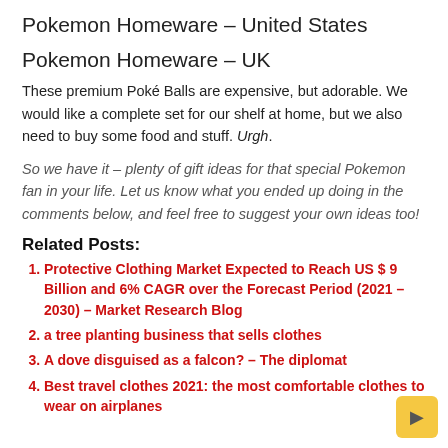Pokemon Homeware – United States
Pokemon Homeware – UK
These premium Poké Balls are expensive, but adorable. We would like a complete set for our shelf at home, but we also need to buy some food and stuff. Urgh.
So we have it – plenty of gift ideas for that special Pokemon fan in your life. Let us know what you ended up doing in the comments below, and feel free to suggest your own ideas too!
Related Posts:
Protective Clothing Market Expected to Reach US $ 9 Billion and 6% CAGR over the Forecast Period (2021 – 2030) – Market Research Blog
a tree planting business that sells clothes
A dove disguised as a falcon? – The diplomat
Best travel clothes 2021: the most comfortable clothes to wear on airplanes